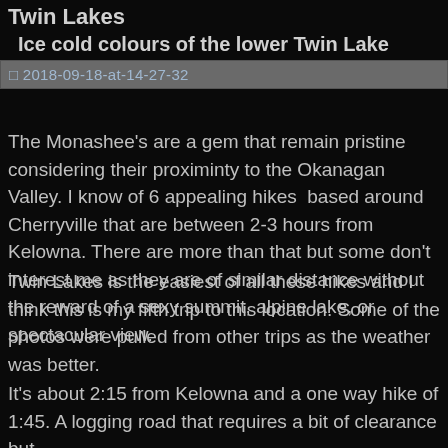Twin Lakes
Ice cold colours of the lower Twin Lake
2018-09-18-at-14-27-32
The Monashee's are a gem that remain pristine considering their proximinty to the Okanagan Valley. I know of 6 appealing hikes  based around Cherryville that are between 2-3 hours from Kelowna. There are more than that but some don't interest me as they are of similar distance without the reward of a sexy summit, alpine lake, or spectacular view.
Twin Lakes is the easiest of all these hikes and I think this is my fifth trip to this location. Some of the photos were pulled from other trips as the weather was better.
It's about 2:15 from Kelowna and a one way hike of 1:45. A logging road that requires a bit of clearance but